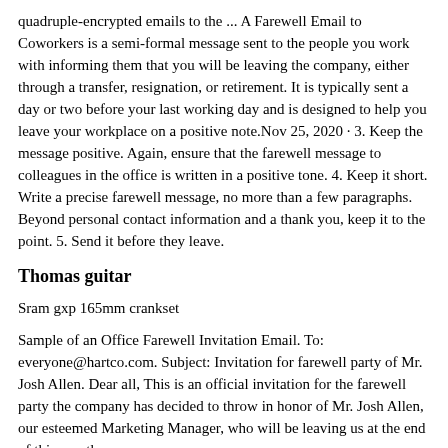quadruple-encrypted emails to the ... A Farewell Email to Coworkers is a semi-formal message sent to the people you work with informing them that you will be leaving the company, either through a transfer, resignation, or retirement. It is typically sent a day or two before your last working day and is designed to help you leave your workplace on a positive note.Nov 25, 2020 · 3. Keep the message positive. Again, ensure that the farewell message to colleagues in the office is written in a positive tone. 4. Keep it short. Write a precise farewell message, no more than a few paragraphs. Beyond personal contact information and a thank you, keep it to the point. 5. Send it before they leave.
Thomas guitar
Sram gxp 165mm crankset
Sample of an Office Farewell Invitation Email. To: everyone@hartco.com. Subject: Invitation for farewell party of Mr. Josh Allen. Dear all, This is an official invitation for the farewell party the company has decided to throw in honor of Mr. Josh Allen, our esteemed Marketing Manager, who will be leaving us at the end of this month.
A goodbye email gives you the opportunity to say goodbye in a professional way and thank them for all they have done for you.